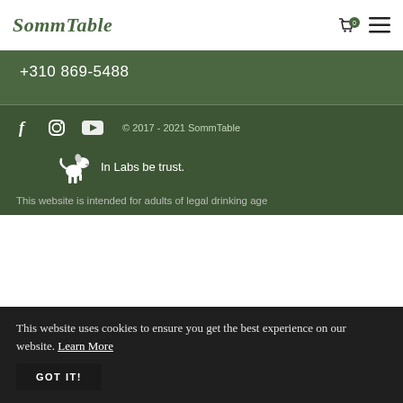SommTable
+310 869-5488
© 2017 - 2021 SommTable
In Labs be trust.
This website is intended for adults of legal drinking age
This website uses cookies to ensure you get the best experience on our website. Learn More
GOT IT!